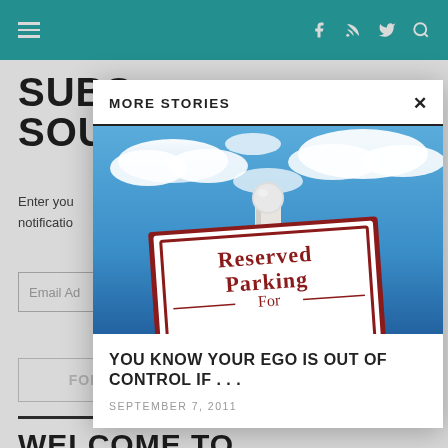≡  [facebook] [rss] [twitter] [search]
SUBS... SOU...
Enter your... notification...
Email Ad...
FOLLO...
MORE STORIES
[Figure (photo): A Reserved Parking For sign on a post against a blue cloudy sky]
YOU KNOW YOUR EGO IS OUT OF CONTROL IF . . .
SEPTEMBER 7, 2011
WELCOME TO...